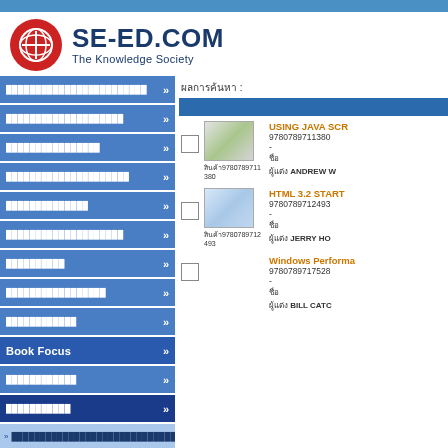SE-ED.COM - The Knowledge Society
ผลการค้นหา :
Book: USING JAVA SCR... ISBN: 9780789711380, Author: ANDREW W...
Book: HTML 3.2 START... ISBN: 9780789712493, Author: JERRY HO...
Book: Windows Performa... ISBN: 9780789717528, Author: BILL CATC...